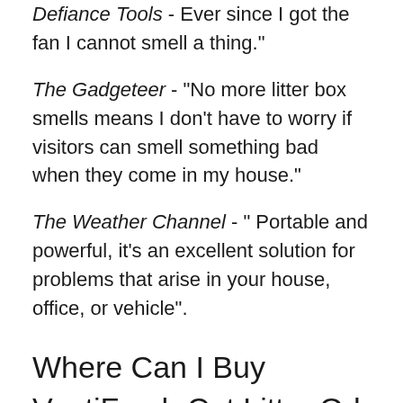Defiance Tools - Ever since I got the fan I cannot smell a thing.
The Gadgeteer - "No more litter box smells means I don't have to worry if visitors can smell something bad when they come in my house."
The Weather Channel - " Portable and powerful, it's an excellent solution for problems that arise in your house, office, or vehicle".
Where Can I Buy
VentiFresh Cat Litter Odor